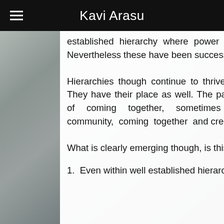Kavi Arasu
established hierarchy where power and authority was formally devolved. Nevertheless these have been successful.
Hierarchies though continue to thrive. Within the boundaries of corporations and business. They have their place as well. The pain begins when hierarchies are seen as the only form of coming together, sometimes seemingly in blissful ignorance of how other forms of community, coming together and creating value are emerging and thriving.
What is clearly emerging though, is this.
1.  Even within well established hierarchies, beneath the solid and dotted lines, and the